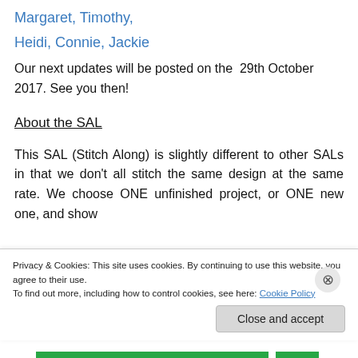Margaret, Timothy,
Heidi, Connie, Jackie
Our next updates will be posted on the  29th October 2017. See you then!
About the SAL
This SAL (Stitch Along) is slightly different to other SALs in that we don’t all stitch the same design at the same rate. We choose ONE unfinished project, or ONE new one, and show
Privacy & Cookies: This site uses cookies. By continuing to use this website, you agree to their use.
To find out more, including how to control cookies, see here: Cookie Policy
Close and accept